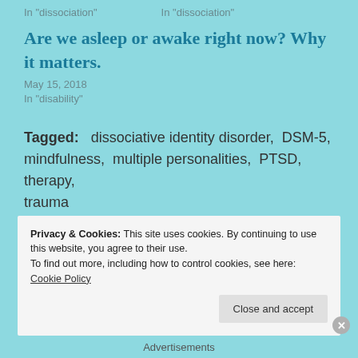In "dissociation"
In "dissociation"
Are we asleep or awake right now? Why it matters.
May 15, 2018
In "disability"
Tagged:   dissociative identity disorder,  DSM-5,  mindfulness,  multiple personalities,  PTSD,  therapy,  trauma
Privacy & Cookies: This site uses cookies. By continuing to use this website, you agree to their use.
To find out more, including how to control cookies, see here: Cookie Policy
Close and accept
Advertisements